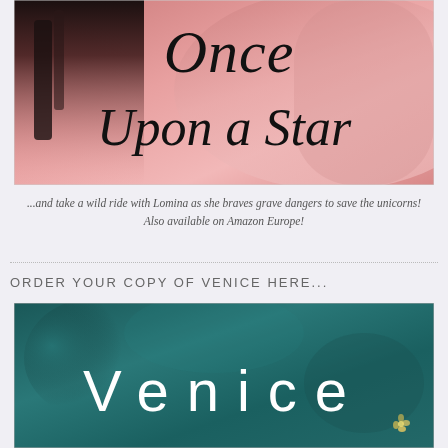[Figure (illustration): Book cover for 'Once Upon a Star' with pink/rose toned background showing a hand, with large italic serif title text]
...and take a wild ride with Lomina as she braves grave dangers to save the unicorns!
Also available on Amazon Europe!
ORDER YOUR COPY OF VENICE HERE...
[Figure (illustration): Book cover for 'Venice' with teal/dark green background and large white spaced-out sans-serif title text, small yellow flower accent in lower right]